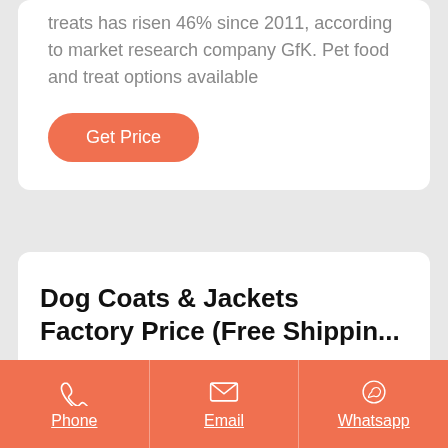treats has risen 46% since 2011, according to market research company GfK. Pet food and treat options available
Get Price
Dog Coats & Jackets Factory Price (Free Shippin...
Phone
Email
Whatsapp